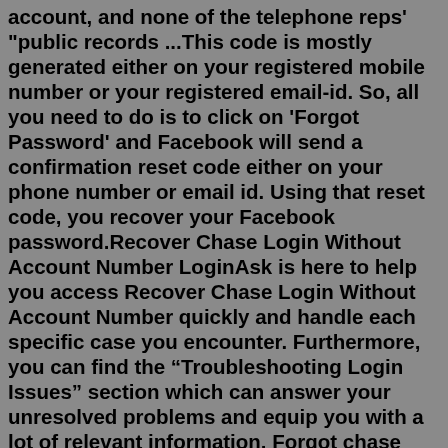account, and none of the telephone reps' "public records ...This code is mostly generated either on your registered mobile number or your registered email-id. So, all you need to do is to click on 'Forgot Password' and Facebook will send a confirmation reset code either on your phone number or email id. Using that reset code, you recover your Facebook password.Recover Chase Login Without Account Number LoginAsk is here to help you access Recover Chase Login Without Account Number quickly and handle each specific case you encounter. Furthermore, you can find the “Troubleshooting Login Issues” section which can answer your unresolved problems and equip you with a lot of relevant information. Forgot chase bank online password? Searching for the tutorial to successfully recover chase online banking account? This video guides you through the step by... If you've forgotten your password or it has expired, or if your user ID is locked, enter your User ID below and select Continue.